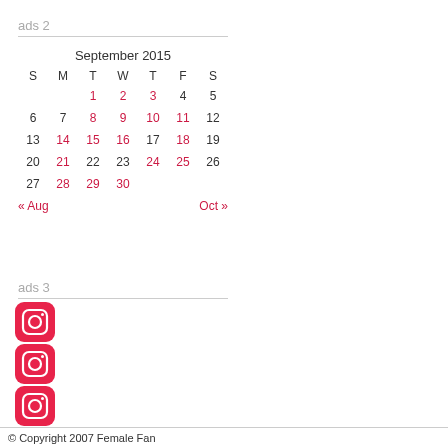ads 2
| S | M | T | W | T | F | S |
| --- | --- | --- | --- | --- | --- | --- |
|  |  | 1 | 2 | 3 | 4 | 5 |
| 6 | 7 | 8 | 9 | 10 | 11 | 12 |
| 13 | 14 | 15 | 16 | 17 | 18 | 19 |
| 20 | 21 | 22 | 23 | 24 | 25 | 26 |
| 27 | 28 | 29 | 30 |  |  |  |
ads 3
[Figure (logo): Three Instagram logo icons stacked vertically, red/pink rounded square with camera icon outline in white]
© Copyright 2007 Female Fan